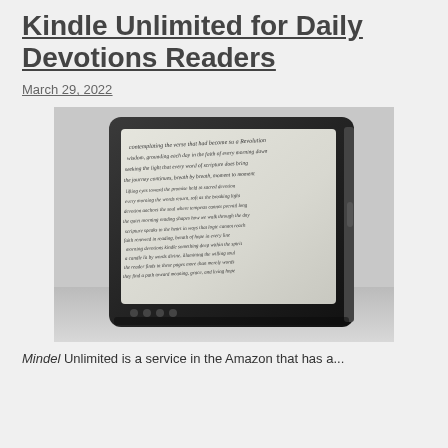Kindle Unlimited for Daily Devotions Readers
March 29, 2022
[Figure (photo): Black and white photograph of a Kindle e-reader device displaying text, resting on a flat surface.]
Mindel Unlimited is a service in the Amazon that has a...